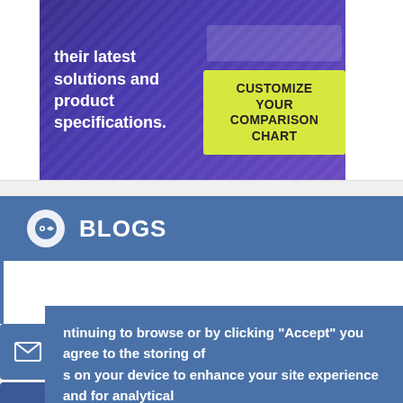[Figure (screenshot): Advertisement banner with dark purple background showing text 'their latest solutions and product specifications.' on the left, and a yellow-green button 'CUSTOMIZE YOUR COMPARISON CHART' on the right]
BLOGS
[Figure (photo): Circular profile photo of a woman with dark hair, smiling, wearing a white blazer]
ntinuing to browse or by clicking "Accept" you agree to the storing of s on your device to enhance your site experience and for analytical arketing purposes.
n more about how we use cookies, please see our cookie policy.
agree    No, thanks